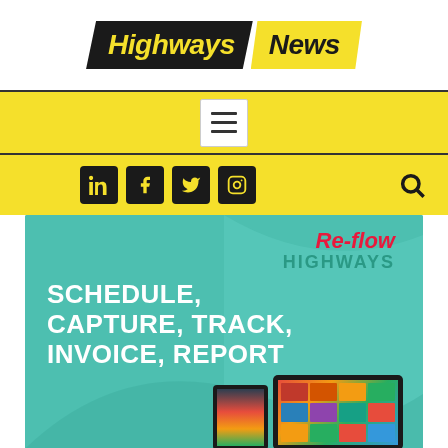[Figure (logo): Highways News logo — 'Highways' in yellow text on black parallelogram, 'News' in black text on yellow parallelogram]
[Figure (screenshot): Yellow navigation bar with hamburger menu icon in white box]
[Figure (screenshot): Yellow bar with social media icons (LinkedIn, Facebook, Twitter, Instagram) and search icon]
[Figure (infographic): Re-flow Highways advertisement banner on teal background. Text reads 'Re-flow HIGHWAYS' and 'SCHEDULE, CAPTURE, TRACK, INVOICE, REPORT' with device mockups (tablet and phone) at bottom.]